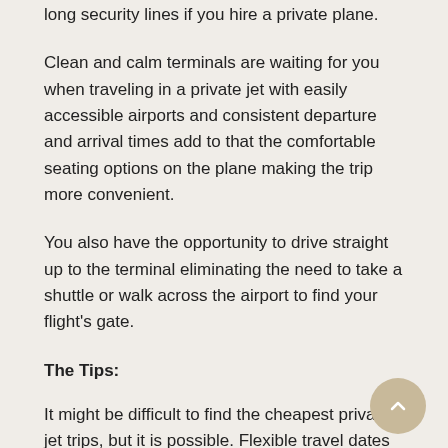long security lines if you hire a private plane.
Clean and calm terminals are waiting for you when traveling in a private jet with easily accessible airports and consistent departure and arrival times add to that the comfortable seating options on the plane making the trip more convenient.
You also have the opportunity to drive straight up to the terminal eliminating the need to take a shuttle or walk across the airport to find your flight's gate.
The Tips:
It might be difficult to find the cheapest private jet trips, but it is possible. Flexible travel dates are essential; as vacant leg seats may become available at the last minute. It's essential to be willing to book a flight at the last minute in order to take advantage of next-day deals.